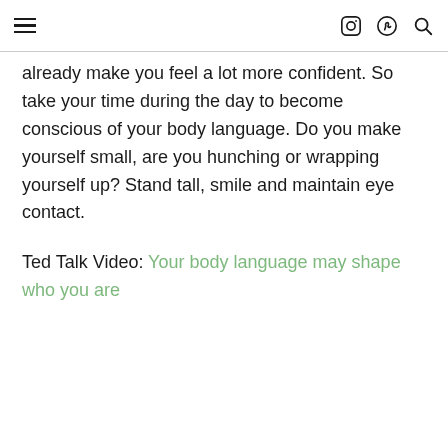[hamburger menu] [instagram icon] [pinterest icon] [search icon]
already make you feel a lot more confident. So take your time during the day to become conscious of your body language. Do you make yourself small, are you hunching or wrapping yourself up? Stand tall, smile and maintain eye contact.
Ted Talk Video: Your body language may shape who you are